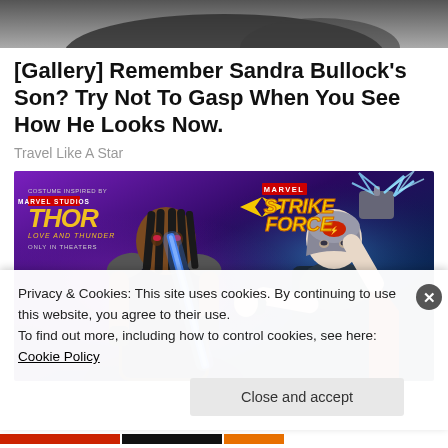[Figure (photo): Top portion of a photo showing a dark-haired person, cropped]
[Gallery] Remember Sandra Bullock's Son? Try Not To Gasp When You See How He Looks Now.
Travel Like A Star
[Figure (illustration): Marvel Strike Force advertisement featuring two female characters from Thor: Love and Thunder. Left character has dark braids and holds a glowing blue sword. Right character is dressed as Thor with a helmet, raising Mjolnir with lightning. Marvel Strike Force logo appears top right. Thor Love and Thunder logo appears top left with 'Costume Inspired by Marvel Studios Thor Love and Thunder Only in Theaters' text.]
Privacy & Cookies: This site uses cookies. By continuing to use this website, you agree to their use.
To find out more, including how to control cookies, see here: Cookie Policy
Close and accept